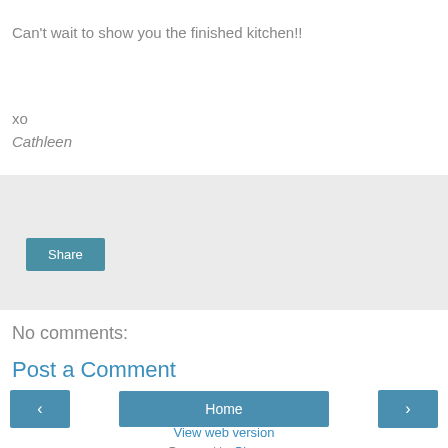Can't wait to show you the finished kitchen!!
xo
Cathleen
[Figure (screenshot): Share button widget area with light gray background and a blue 'Share' button]
No comments:
Post a Comment
< Home >
View web version
Powered by Blogger.